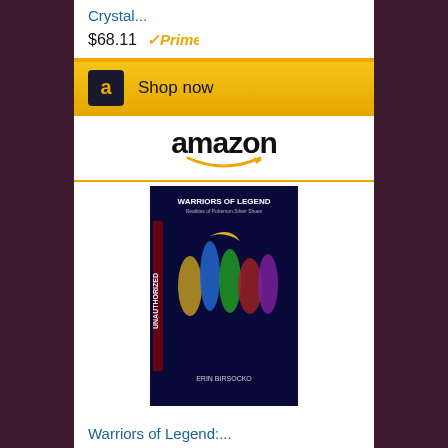Crystal...
$68.11
[Figure (logo): Amazon Prime badge with checkmark]
[Figure (logo): Amazon Shop now button with golden background and Amazon 'a' logo]
[Figure (logo): Amazon logo with smile]
[Figure (photo): Book cover: Warriors of Legend - Unauthorized book with dark blue cover showing warriors]
Warriors of Legend:...
$12.99
[Figure (logo): Amazon Prime badge with checkmark]
[Figure (logo): Amazon Shop now button with golden background]
[Figure (logo): Amazon logo with smile]
[Figure (photo): Book cover: Sailor Moon with crescent moon on dark blue background]